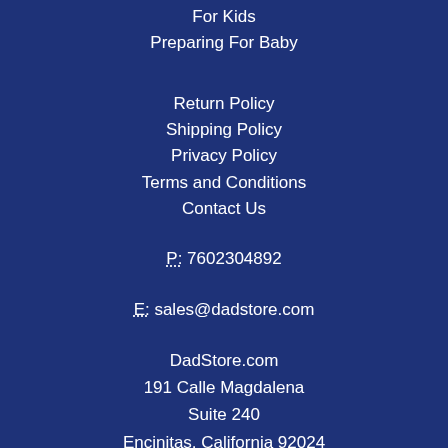For Kids
Preparing For Baby
Return Policy
Shipping Policy
Privacy Policy
Terms and Conditions
Contact Us
P: 7602304892
E: sales@dadstore.com
DadStore.com
191 Calle Magdalena
Suite 240
Encinitas, California 92024
Get to know us!